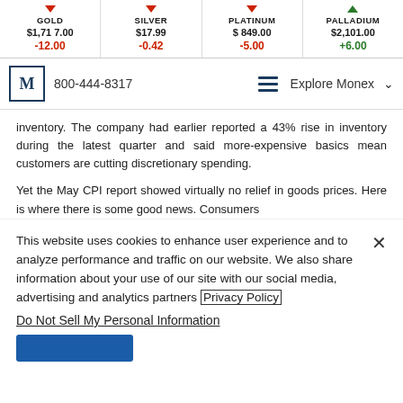| GOLD | SILVER | PLATINUM | PALLADIUM |
| --- | --- | --- | --- |
| $1,717.00 | $17.99 | $849.00 | $2,101.00 |
| -12.00 | -0.42 | -5.00 | +6.00 |
[Figure (logo): Monex logo - letter M in a bordered box, with phone number 800-444-8317 and Explore Monex navigation]
inventory. The company had earlier reported a 43% rise in inventory during the latest quarter and said more-expensive basics mean customers are cutting discretionary spending.
Yet the May CPI report showed virtually no relief in goods prices. Here is where there is some good news. Consumers
This website uses cookies to enhance user experience and to analyze performance and traffic on our website. We also share information about your use of our site with our social media, advertising and analytics partners Privacy Policy
Do Not Sell My Personal Information